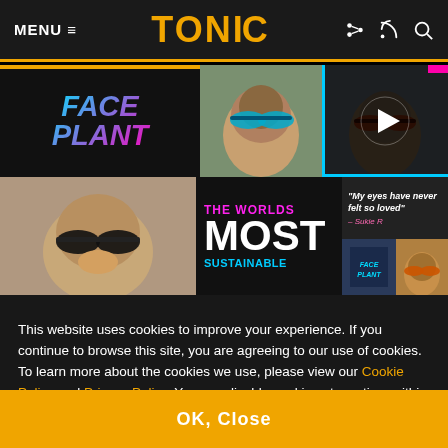MENU ≡  TONiC
[Figure (screenshot): Website screenshot showing Tonic sunglasses brand page with mosaic of photos including people wearing sunglasses, Face Plant logo, The Worlds Most Sustainable text, quote from Sukie R, and a video thumbnail]
This website uses cookies to improve your experience. If you continue to browse this site, you are agreeing to our use of cookies. To learn more about the cookies we use, please view our Cookie Policy and Privacy Policy. You can disable cookies at any time within your browser settings.
OK, Close